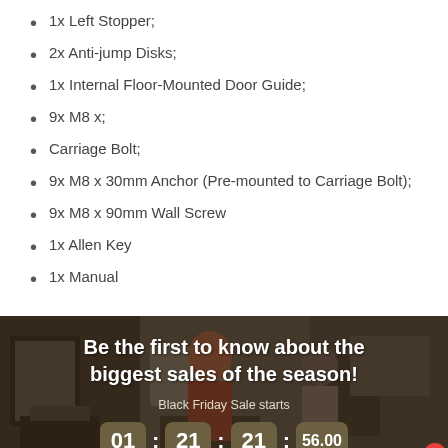1x Left Stopper;
2x Anti-jump Disks;
1x Internal Floor-Mounted Door Guide;
9x M8 x;
Carriage Bolt;
9x M8 x 30mm Anchor (Pre-mounted to Carriage Bolt);
9x M8 x 90mm Wall Screw
1x Allen Key
1x Manual
[Figure (photo): Promotional banner with a shop background image. Text reads: 'Be the first to know about the biggest sales of the season!' with 'Black Friday Sale starts' and a countdown timer showing 01 : 21 : 21 : 56.00, plus a 'Chat with us' button with badge showing 1.]